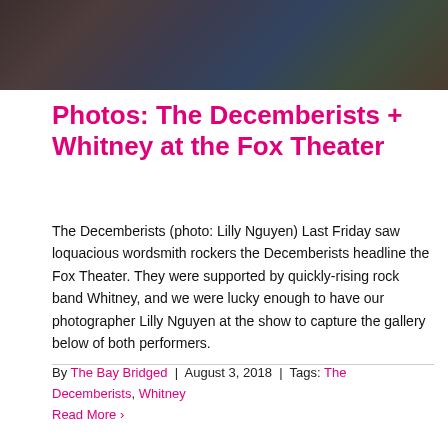[Figure (photo): Concert photo showing performers on stage with amplifiers and colorful stage lighting in dark background]
Photos: The Decemberists + Whitney at the Fox Theater
The Decemberists (photo: Lilly Nguyen) Last Friday saw loquacious wordsmith rockers the Decemberists headline the Fox Theater. They were supported by quickly-rising rock band Whitney, and we were lucky enough to have our photographer Lilly Nguyen at the show to capture the gallery below of both performers.
By The Bay Bridged | August 3, 2018 | Tags: The Decemberists, Whitney
Read More ›